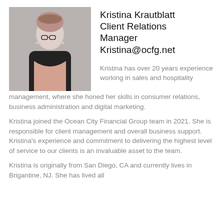[Figure (photo): Professional headshot of Kristina Krautblatt, a woman wearing glasses and a black blazer over a pink top, smiling at the camera against a light background.]
Kristina Krautblatt
Client Relations Manager
Kristina@ocfg.net
Kristina has over 20 years experience working in sales and hospitality management, where she honed her skills in consumer relations, business administration and digital marketing.
Kristina joined the Ocean City Financial Group team in 2021. She is responsible for client management and overall business support. Kristina's experience and commitment to delivering the highest level of service to our clients is an invaluable asset to the team.
Kristina is originally from San Diego, CA and currently lives in Brigantine, NJ. She has lived all